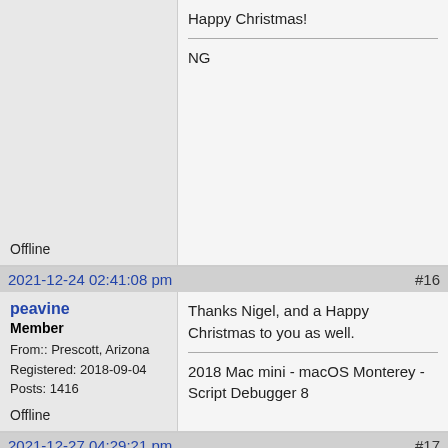Happy Christmas!

NG

Offline
2021-12-24 02:41:08 pm
#16
peavine
Member
From:: Prescott, Arizona
Registered: 2018-09-04
Posts: 1416
Offline
Thanks Nigel, and a Happy Christmas to you as well.

2018 Mac mini - macOS Monterey - Script Debugger 8
2021-12-27 04:29:21 pm
#17
Nigel Garvey
Moderator
From:: Warwickshire, England
Registered: 2002-11-20
Posts: 5554
Hi peavine.

It turns out that my System Events script can (often!) negotiate my own home folder